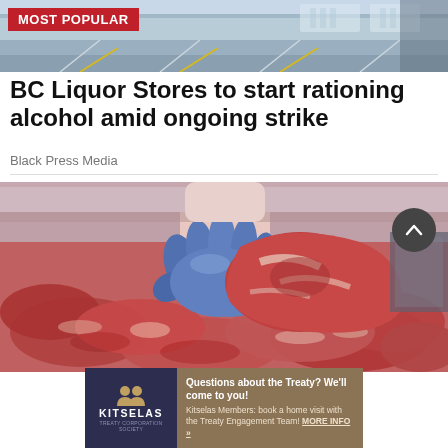[Figure (photo): Top of webpage showing a parking lot or store exterior photo with yellow line markings and blue/grey tones]
MOST POPULAR
BC Liquor Stores to start rationing alcohol amid ongoing strike
Black Press Media
[Figure (photo): A gloved hand (blue nitrile glove) holding a large cut of raw red meat over a display case full of raw meats in a butcher/grocery setting]
[Figure (other): Advertisement banner for Kitselas Treaty: Questions about the Treaty? We'll come to you! Kitselas Members: book a home visit with the Treaty Engagement Team! MORE INFO »]
Questions about the Treaty? We'll come to you! Kitselas Members: book a home visit with the Treaty Engagement Team! MORE INFO »